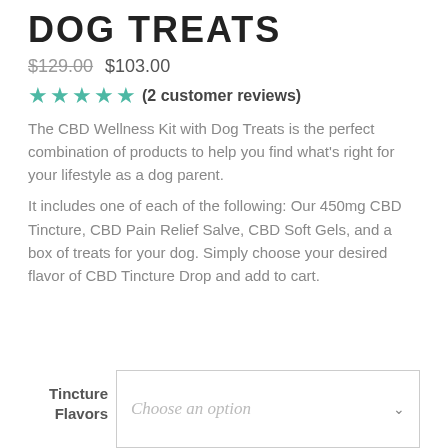DOG TREATS
$129.00  $103.00
★★★★★ (2 customer reviews)
The CBD Wellness Kit with Dog Treats is the perfect combination of products to help you find what's right for your lifestyle as a dog parent.
It includes one of each of the following: Our 450mg CBD Tincture, CBD Pain Relief Salve, CBD Soft Gels, and a box of treats for your dog. Simply choose your desired flavor of CBD Tincture Drop and add to cart.
Tincture Flavors  Choose an option